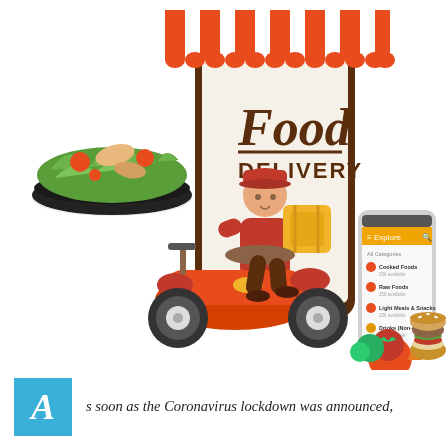[Figure (illustration): Food delivery illustration showing a delivery person in red uniform riding a red scooter with a yellow package, in front of a large smartphone displaying a 'Food Delivery' app with awning/canopy on top. A bowl of salad is in the upper left, vegetables and a burger in the lower right, and a smartphone mockup showing food category menu on the right side.]
s soon as the Coronavirus lockdown was announced,